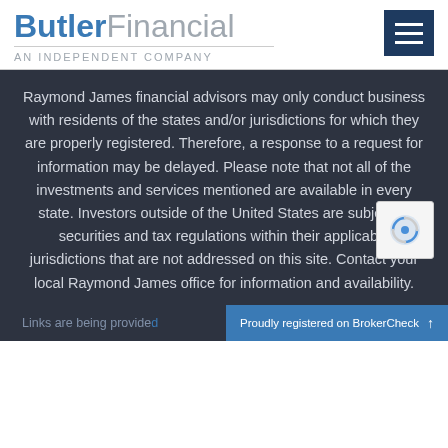Butler Financial — AN INDEPENDENT COMPANY
Raymond James financial advisors may only conduct business with residents of the states and/or jurisdictions for which they are properly registered. Therefore, a response to a request for information may be delayed. Please note that not all of the investments and services mentioned are available in every state. Investors outside of the United States are subject to securities and tax regulations within their applicable jurisdictions that are not addressed on this site. Contact your local Raymond James office for information and availability.
Links are being provide...
Proudly registered on BrokerCheck ↑